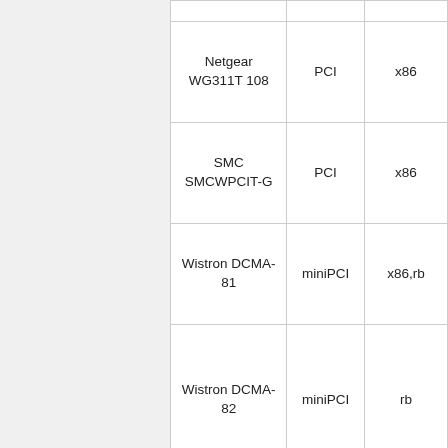| Netgear WG311T 108 | PCI | x86 |
| SMC SMCWPCIT-G | PCI | x86 |
| Wistron DCMA-81 | miniPCI | x86,rb |
| Wistron DCMA-82 | miniPCI | rb |
| Senao NMP- | miniPCI | x86,Mi... |